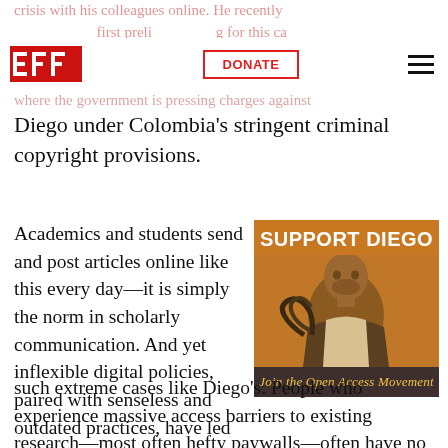crisis with his colleagues online. He recently
EFF | DONATE (button)
where the government is pressing charges against
Diego under Colombia's stringent criminal copyright provisions.
Academics and students send and post articles online like this every day—it is simply the norm in scholarly communication. And yet inflexible digital policies, paired with senseless and outdated practices, have led to such extreme cases like Diego's. People who experience massive access barriers to existing research—most often hefty paywalls—often have no choice but to find and share relevant papers
[Figure (infographic): Support Diego campaign image with orange background, photo of a man, text 'SUPPORT DIEGO' and 'Join the Open Access Movement']